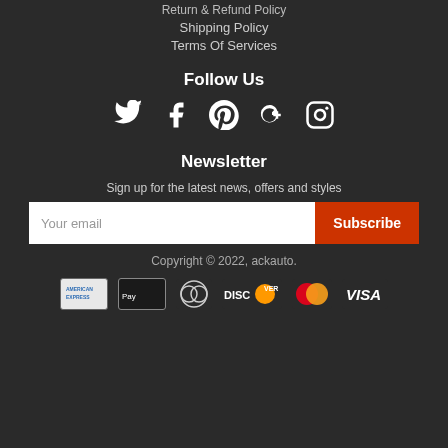Return & Refund Policy
Shipping Policy
Terms Of Services
Follow Us
[Figure (infographic): Social media icons: Twitter, Facebook, Pinterest, Google+, Instagram]
Newsletter
Sign up for the latest news, offers and styles
Your email | Subscribe
Copyright © 2022, ackauto.
[Figure (infographic): Payment method logos: American Express, Apple Pay, Diners Club, Discover, MasterCard, Visa]